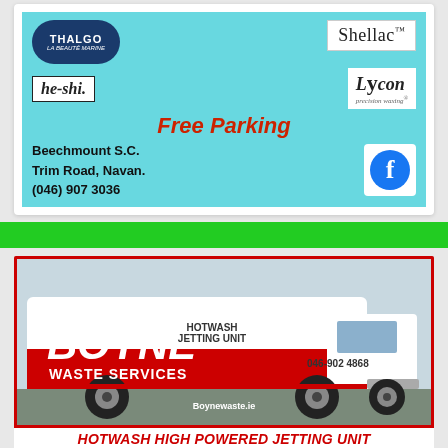[Figure (illustration): Beauty salon advertisement with Thalgo, Shellac, he-shi, Lycon logos on cyan background. Text: Free Parking, Beechmount S.C., Trim Road, Navan. (046) 907 3036, with Facebook icon.]
[Figure (photo): Boyne Waste Services van with red and white livery, HOTWASH JETTING UNIT text. Phone 046-902 4868, website Boynewaste.ie. Footer text: HOTWASH HIGH POWERED JETTING UNIT.]